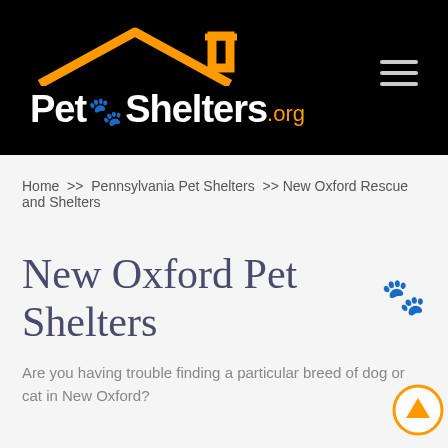[Figure (logo): PetShelters.org website logo on black header background with orange house/roof icon, white bold text 'Pet' and 'Shelters' with orange paw print between them, and orange '.org' suffix. Hamburger menu icon on the right.]
Home >> Pennsylvania Pet Shelters >> New Oxford Rescue and Shelters
New Oxford Pet Shelters
Are you having trouble finding a particular breed of dog or cat in New Oxford?